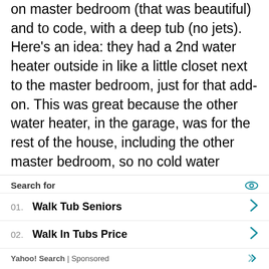on master bedroom (that was beautiful) and to code, with a deep tub (no jets). Here's an idea: they had a 2nd water heater outside in like a little closet next to the master bedroom, just for that add-on. This was great because the other water heater, in the garage, was for the rest of the house, including the other master bedroom, so no cold water problems.

However, the problem I had with the deep tub was that it was a pain to have to clean it! It's hard to clean a tub that's deep like that. Anyway, I was commenting to give you an option to have 2 water heaters, but of course that raises the $$$, but at least you'd have all the hot water you could
Search for
01. Walk Tub Seniors
02. Walk In Tubs Price
Yahoo! Search | Sponsored